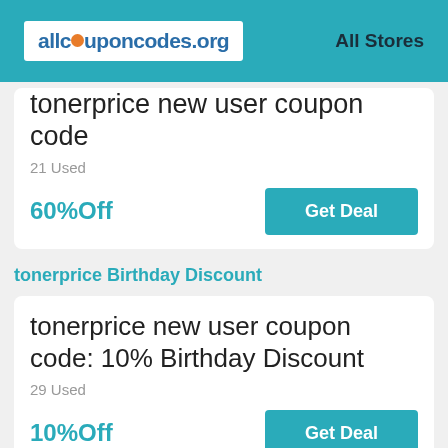allcouponcodes.org   All Stores
tonerprice new user coupon code
21 Used
60%Off
Get Deal
tonerprice Birthday Discount
tonerprice new user coupon code: 10% Birthday Discount
29 Used
10%Off
Get Deal